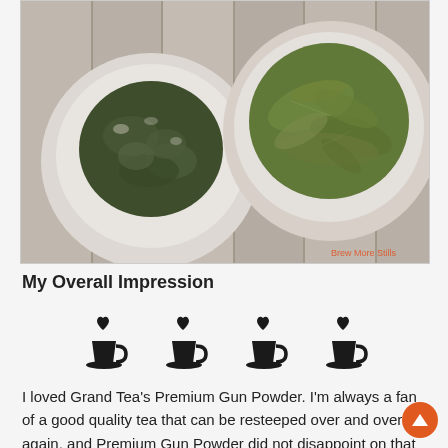[Figure (photo): Two white ceramic bowls on a wooden surface: left bowl contains dry green tea pellets (gunpowder tea), right bowl contains wet/steeped green tea leaves. Watermark reads 'Brew More Stills' in orange text at bottom right.]
My Overall Impression
[Figure (infographic): Four black tea cup icons each with a heart above, representing a 4-out-of-5 rating.]
I loved Grand Tea's Premium Gun Powder. I'm always a fan of a good quality tea that can be resteeped over and over again, and Premium Gun Powder did not disappoint on that front! From dry leaf to steeped tea, Premium Gun Powder